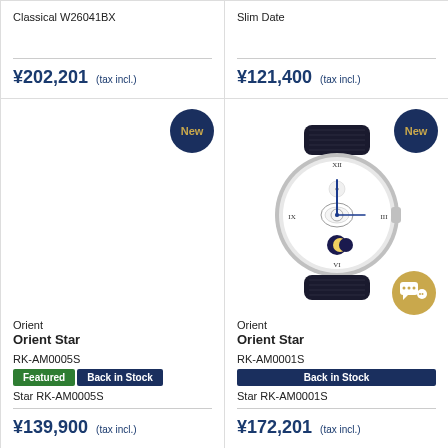Classical W26041BX
¥202,201 (tax incl.)
Slim Date
¥121,400 (tax incl.)
[Figure (other): New badge (dark navy circle with gold text)]
Orient
Orient Star
RK-AM0005S
Featured | Back in Stock
Star RK-AM0005S
¥139,900 (tax incl.)
[Figure (photo): Orient Star watch with open-heart moonphase design, black leather strap, white dial]
Orient
Orient Star
RK-AM0001S
Back in Stock
Star RK-AM0001S
¥172,201 (tax incl.)